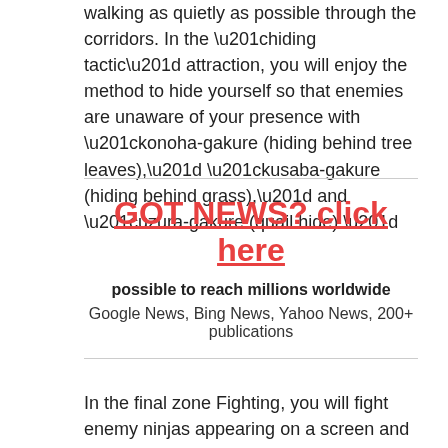walking as quietly as possible through the corridors. In the “hiding tactic” attraction, you will enjoy the method to hide yourself so that enemies are unaware of your presence with “konoha-gakure (hiding behind tree leaves),” “kusaba-gakure (hiding behind grass),” and “uzura-gakure (quail hide).”
GOT NEWS? click here
possible to reach millions worldwide
Google News, Bing News, Yahoo News, 200+ publications
In the final zone Fighting, you will fight enemy ninjas appearing on a screen and prove your skills from what you